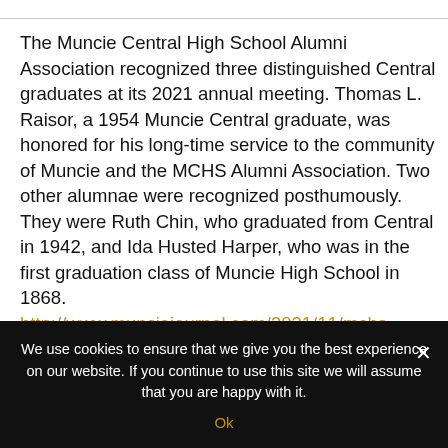The Muncie Central High School Alumni Association recognized three distinguished Central graduates at its 2021 annual meeting. Thomas L. Raisor, a 1954 Muncie Central graduate, was honored for his long-time service to the community of Muncie and the MCHS Alumni Association. Two other alumnae were recognized posthumously. They were Ruth Chin, who graduated from Central in 1942, and Ida Husted Harper, who was in the first graduation class of Muncie High School in 1868. http://www.munciejournal.com/2021/11/mchs-
We use cookies to ensure that we give you the best experience on our website. If you continue to use this site we will assume that you are happy with it. Ok